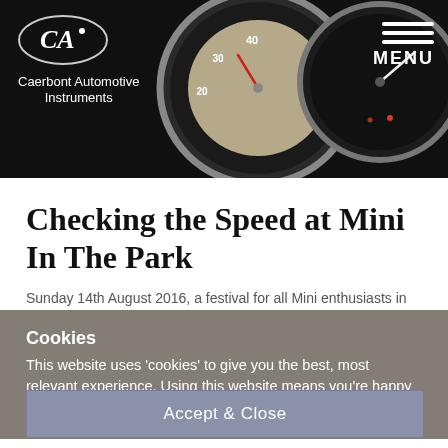[Figure (photo): Dark header banner showing Caerbont Automotive Instruments logo on left with a stylized oval CA logo mark, and two vintage car gauges/speedometers on the right against a black background. A hamburger menu icon and MENU label appear in the top right corner.]
Checking the Speed at Mini In The Park
Sunday 14th August 2016, a festival for all Mini enthusiasts in...
Cookies
This website uses 'cookies' to give you the best, most relevant experience. Using this website means you're happy with this. You can find out more about the cookies used by clicking this link.
Accept & Close